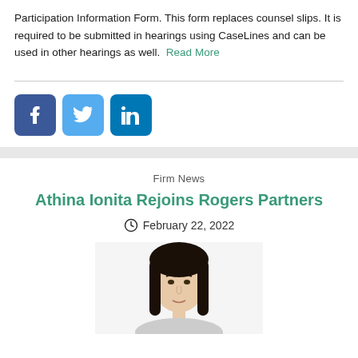Participation Information Form. This form replaces counsel slips. It is required to be submitted in hearings using CaseLines and can be used in other hearings as well. Read More
[Figure (other): Social media share icons: Facebook (blue square with f), Twitter (light blue square with t), LinkedIn (dark blue square with in)]
Firm News
Athina Ionita Rejoins Rogers Partners
February 22, 2022
[Figure (photo): Headshot photo of Athina Ionita, a woman with long dark hair, looking at the camera against a white background.]